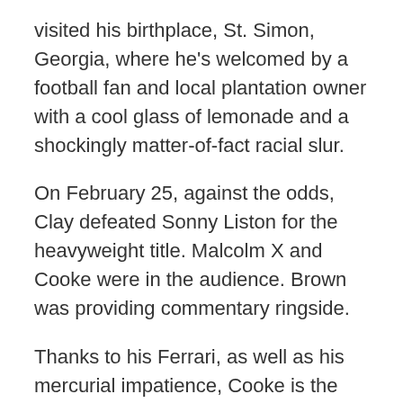visited his birthplace, St. Simon, Georgia, where he's welcomed by a football fan and local plantation owner with a cool glass of lemonade and a shockingly matter-of-fact racial slur.
On February 25, against the odds, Clay defeated Sonny Liston for the heavyweight title. Malcolm X and Cooke were in the audience. Brown was providing commentary ringside.
Thanks to his Ferrari, as well as his mercurial impatience, Cooke is the first to arrive at the motel, which he deems “a dump,” comparing it to the Fontainebleau, where he and his wife are staying. (We later learn that his white manager had to make the reservation.) The others soon arrive together. Cooke, Clay, and Brown are expecting a party, but